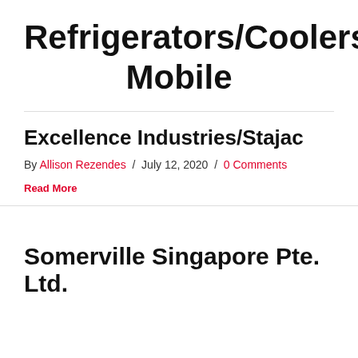Refrigerators/Coolers: Mobile
Excellence Industries/Stajac
By Allison Rezendes / July 12, 2020 / 0 Comments
Read More
Somerville Singapore Pte. Ltd.